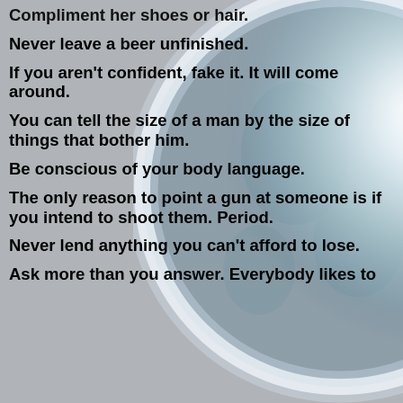[Figure (illustration): Globe/Earth illustration with glowing white light on the right side, set against a gray background]
Compliment her shoes or hair.
Never leave a beer unfinished.
If you aren't confident, fake it. It will come around.
You can tell the size of a man by the size of things that bother him.
Be conscious of your body language.
The only reason to point a gun at someone is if you intend to shoot them. Period.
Never lend anything you can't afford to lose.
Ask more than you answer. Everybody likes to